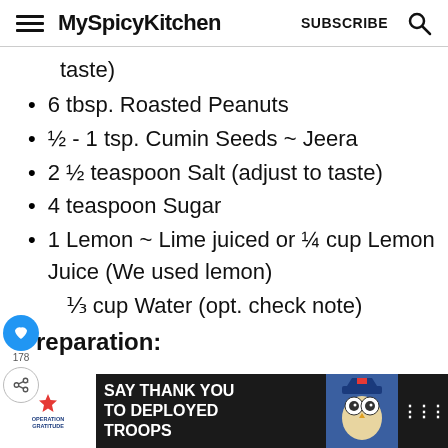MySpicyKitchen  SUBSCRIBE
taste)
6 tbsp. Roasted Peanuts
½ - 1 tsp. Cumin Seeds ~ Jeera
2 ½ teaspoon Salt (adjust to taste)
4 teaspoon Sugar
1 Lemon ~ Lime juiced or ¼ cup Lemon Juice (We used lemon)
⅓ cup Water (opt. check note)
Preparation:
[Figure (other): Advertisement banner: Operation Gratitude – SAY THANK YOU TO DEPLOYED TROOPS]